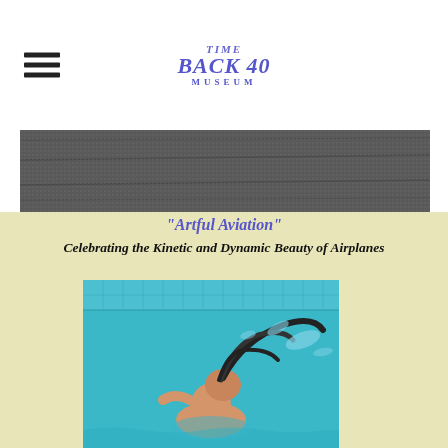TIME BACK 40 MUSEUM
[Figure (photo): Aerial photo of dark grey rooftop with seams/lines visible]
"Artful Aviation"
Celebrating the Kinetic and Dynamic Beauty of Airplanes
[Figure (photo): Person in a swimming pool tossing hair back creating a water splash arc, turquoise water and tiled pool walls visible]